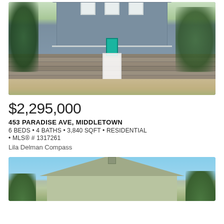[Figure (photo): Front exterior of a two-story blue/gray colonial house with stone wall, white picket gate, teal front door, and green trees in background]
$2,295,000
453 PARADISE AVE, MIDDLETOWN
6 BEDS • 4 BATHS • 3,840 SQFT • RESIDENTIAL • MLS® # 1317261
Lila Delman Compass
[Figure (photo): Partial view of a light green/sage colored house with triangular roof peak against blue sky with trees]